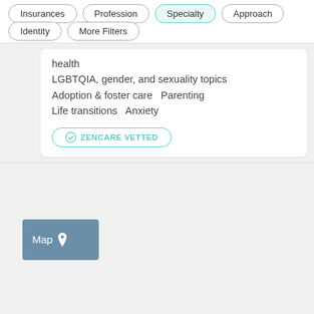Insurances
Profession
Specialty
Approach
Identity
More Filters
health
LGBTQIA, gender, and sexuality topics
Adoption & foster care  Parenting
Life transitions  Anxiety
ZENCARE VETTED
[Figure (screenshot): Map button with location pin icon on a steel blue background]